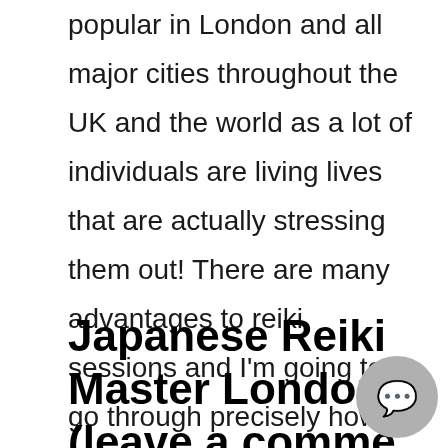popular in London and all major cities throughout the UK and the world as a lot of individuals are living lives that are actually stressing them out! There are many advantages to reiki sessions and I'm going to go through precisely how it can help you in your daily life.
Japanese Reiki Master London (leave a comme...